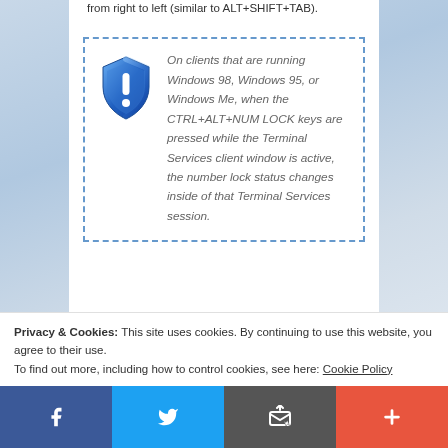from right to left (similar to ALT+SHIFT+TAB).
[Figure (illustration): Blue shield icon with white exclamation mark]
On clients that are running Windows 98, Windows 95, or Windows Me, when the CTRL+ALT+NUM LOCK keys are pressed while the Terminal Services client window is active, the number lock status changes inside of that Terminal Services session.
Privacy & Cookies: This site uses cookies. By continuing to use this website, you agree to their use.
To find out more, including how to control cookies, see here: Cookie Policy
[Figure (infographic): Social sharing bar with Facebook, Twitter, Email, and More buttons]